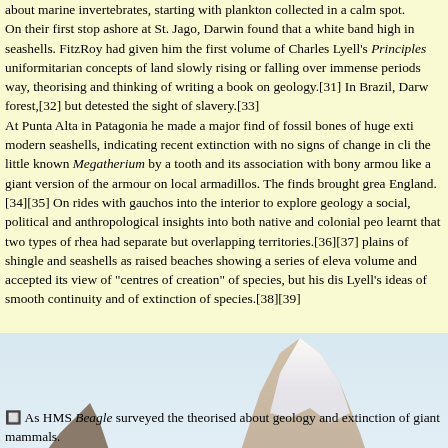about marine invertebrates, starting with plankton collected in a calm spot. On their first stop ashore at St. Jago, Darwin found that a white band high in seashells. FitzRoy had given him the first volume of Charles Lyell's Principles uniformitarian concepts of land slowly rising or falling over immense periods way, theorising and thinking of writing a book on geology.[31] In Brazil, Darwin forest,[32] but detested the sight of slavery.[33] At Punta Alta in Patagonia he made a major find of fossil bones of huge extinct modern seashells, indicating recent extinction with no signs of change in climate the little known Megatherium by a tooth and its association with bony armour like a giant version of the armour on local armadillos. The finds brought great England.[34][35] On rides with gauchos into the interior to explore geology and social, political and anthropological insights into both native and colonial people learnt that two types of rhea had separate but overlapping territories.[36][37] plains of shingle and seashells as raised beaches showing a series of elevation volume and accepted its view of "centres of creation" of species, but his discoveries Lyell's ideas of smooth continuity and of extinction of species.[38][39]
[Figure (illustration): Painting of HMS Beagle sailing in a fjord or channel with tall mountains in the background and a small native boat in the foreground with a person standing.]
As HMS Beagle surveyed the theorised about geology and extinction of giant mammals.